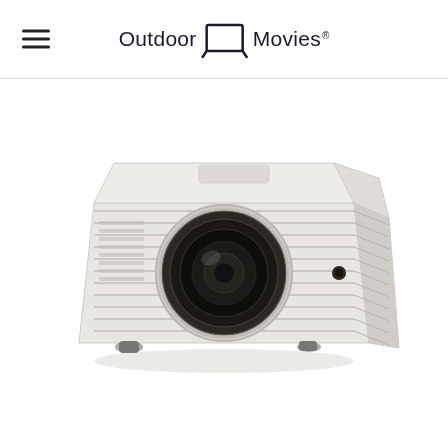Outdoor Movies
[Figure (photo): White DLP projector (Optoma-style) angled to the right, with ribbed casing, large front lens, and ventilation grilles on the side, shown on white background.]